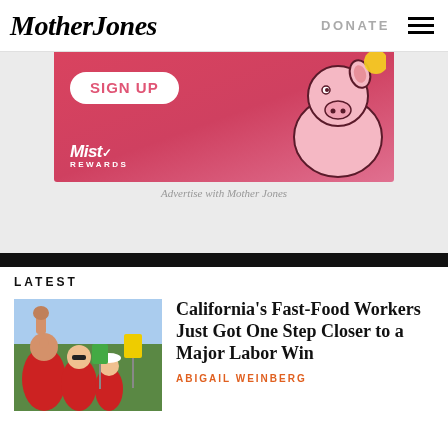Mother Jones | DONATE
[Figure (illustration): Pink/red advertisement banner with SIGN UP bubble, MistRewards logo, and cartoon pig illustration on pink background]
Advertise with Mother Jones
LATEST
[Figure (photo): Photo of fast-food workers in red shirts rallying, fist raised, with protest signs]
California’s Fast-Food Workers Just Got One Step Closer to a Major Labor Win
ABIGAIL WEINBERG